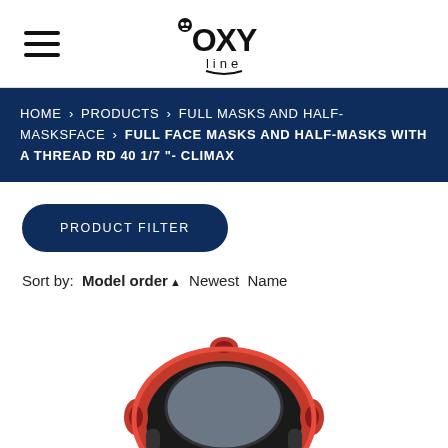OXY line logo and hamburger menu
HOME > PRODUCTS > FULL MASKS AND HALF-MASKSFACE > FULL FACE MASKS AND HALF-MASKS WITH A THREAD RD 40 1/7 "- CLIMAX
PRODUCT FILTER
Sort by: Model order ▲ Newest Name
[Figure (photo): A black and orange full face respirator mask (Climax brand) shown from the front-side angle against a white background.]